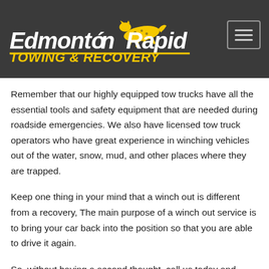[Figure (logo): Edmonton Rapid Towing & Recovery logo with cheetah graphic on dark background, with hamburger menu icon]
Remember that our highly equipped tow trucks have all the essential tools and safety equipment that are needed during roadside emergencies. We also have licensed tow truck operators who have great experience in winching vehicles out of the water, snow, mud, and other places where they are trapped.
Keep one thing in your mind that a winch out is different from a recovery, The main purpose of a winch out service is to bring your car back into the position so that you are able to drive it again.
So, without having a second thought, call us today and